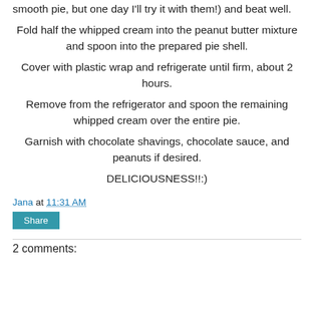smooth pie, but one day I'll try it with them!) and beat well.
Fold half the whipped cream into the peanut butter mixture and spoon into the prepared pie shell.
Cover with plastic wrap and refrigerate until firm, about 2 hours.
Remove from the refrigerator and spoon the remaining whipped cream over the entire pie.
Garnish with chocolate shavings, chocolate sauce, and peanuts if desired.
DELICIOUSNESS!!:)
Jana at 11:31 AM
Share
2 comments: